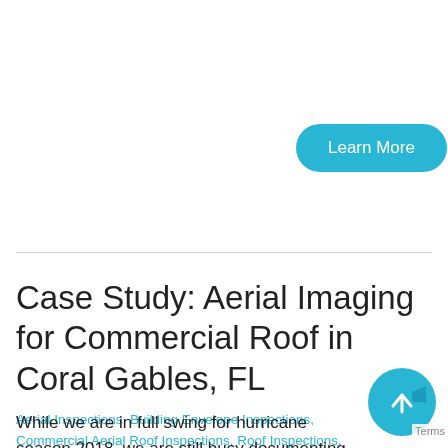[Figure (other): Teal/cyan rounded rectangle button labeled 'Learn More']
Case Study: Aerial Imaging for Commercial Roof in Coral Gables, FL
Aerial Inspections, Building Envelope Inspections, Commercial Aerial Roof Inspections, Roof Inspections, Thermal Imaging
September 19, 2018 21:21 pm   0   0
While we are in full swing for hurricane season 2018, we are still busy documenting roof